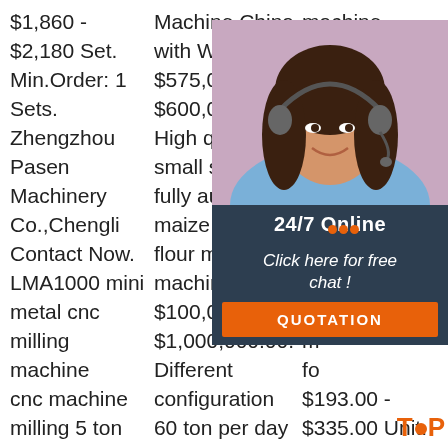$1,860 - $2,180 Set. Min.Order: 1 Sets. Zhengzhou Pasen Machinery Co.,Chengli Contact Now. LMA1000 mini metal cnc milling machine cnc machine milling 5 ton per day maize /wheat flour milling
Machine China with Warranty. $575,000.00 - $600,000.00. High quality small scale fully automatic maize hammer flour milling machine. $100,000.00 - $1,000,000.00. Different configuration 60 ton per day flour mill.
machine 6N40-9FC20. $215.00 - $275.00 Unit. 10... On du pr ric m m fo $193.00 - $335.00 Unit. 1.0 Units Factory direct price durable
[Figure (photo): Chat widget overlay with a woman wearing a headset, '24/7 Online' header, 'Click here for free chat!' text, and an orange 'QUOTATION' button. Also shows orange dot-decorated 'TOP' text at bottom right.]